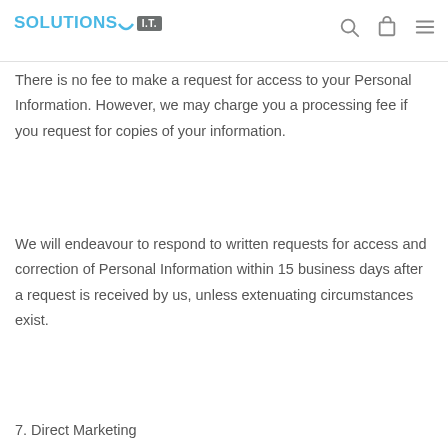Solutions I.T.
There is no fee to make a request for access to your Personal Information. However, we may charge you a processing fee if you request for copies of your information.
We will endeavour to respond to written requests for access and correction of Personal Information within 15 business days after a request is received by us, unless extenuating circumstances exist.
7. Direct Marketing